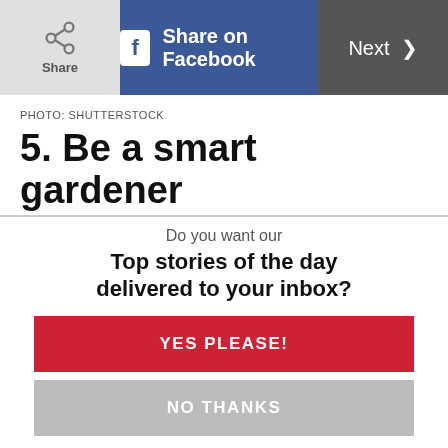Share | Share on Facebook | Next
PHOTO: SHUTTERSTOCK
5. Be a smart gardener
Save water the natural way by installing barrels to capture rain and refraining from hydrating your lawn with a hose, suggests Tompkins. Brown grass
Do you want our
Top stories of the day delivered to your inbox?
YES PLEASE!
NO THANKS